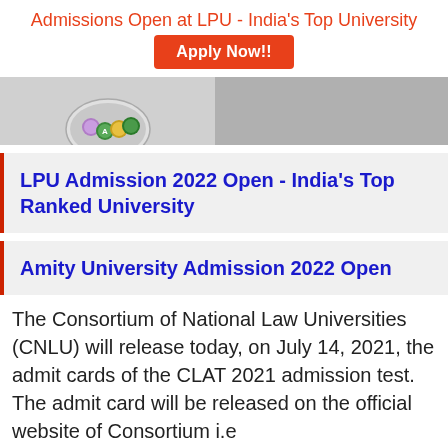Admissions Open at LPU - India's Top University
Apply Now!!
[Figure (photo): Banner image showing a circular badge/logo with colorful icons on a grey background]
LPU Admission 2022 Open - India's Top Ranked University
Amity University Admission 2022 Open
The Consortium of National Law Universities (CNLU) will release today, on July 14, 2021, the admit cards of the CLAT 2021 admission test. The admit card will be released on the official website of Consortium i.e